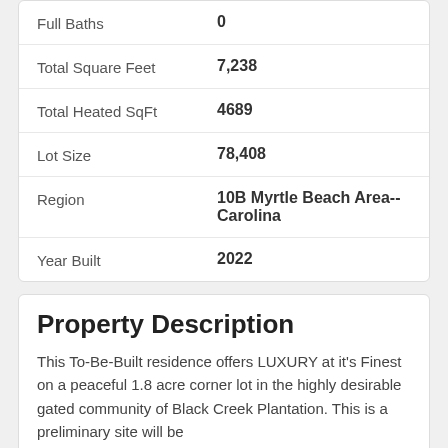| Property | Value |
| --- | --- |
| Full Baths | 0 |
| Total Square Feet | 7,238 |
| Total Heated SqFt | 4689 |
| Lot Size | 78,408 |
| Region | 10B Myrtle Beach Area-- Carolina |
| Year Built | 2022 |
Property Description
This To-Be-Built residence offers LUXURY at it's Finest on a peaceful 1.8 acre corner lot in the highly desirable gated community of Black Creek Plantation. This is a preliminary site will be...